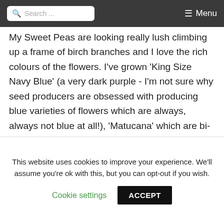Search ... ☰ Menu
My Sweet Peas are looking really lush climbing up a frame of birch branches and I love the rich colours of the flowers. I've grown 'King Size Navy Blue' (a very dark purple - I'm not sure why seed producers are obsessed with producing blue varieties of flowers which are always, always not blue at all!), 'Matucana' which are bi-coloured - crimson and violet and 'Wiltshire Ripple' which are frilled, white flowers, splashed and streaked with deep claret. All three varieties have a lovely fragrance. Sweet peas have
This website uses cookies to improve your experience. We'll assume you're ok with this, but you can opt-out if you wish.
Cookie settings   ACCEPT